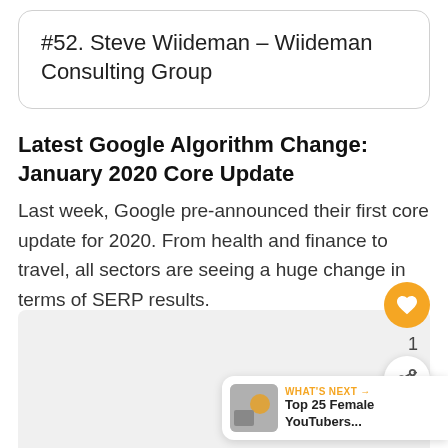#52. Steve Wiideman – Wiideman Consulting Group
Latest Google Algorithm Change: January 2020 Core Update
Last week, Google pre-announced their first core update for 2020. From health and finance to travel, all sectors are seeing a huge change in terms of SERP results.
[Figure (screenshot): Bottom gray content area placeholder, floating heart/share action buttons, and a 'WHAT'S NEXT' banner for 'Top 25 Female YouTubers...']